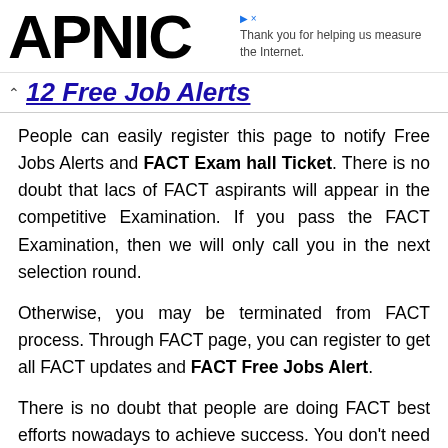APNIC — Thank you for helping us measure the Internet.
12 Free Job Alerts
People can easily register this page to notify Free Jobs Alerts and FACT Exam hall Ticket. There is no doubt that lacs of FACT aspirants will appear in the competitive Examination. If you pass the FACT Examination, then we will only call you in the next selection round.
Otherwise, you may be terminated from FACT process. Through FACT page, you can register to get all FACT updates and FACT Free Jobs Alert.
There is no doubt that people are doing FACT best efforts nowadays to achieve success. You don't need to pay any fee to register FACT page.